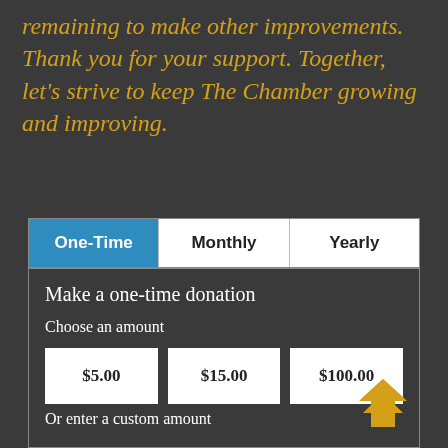remaining to make other improvements. Thank you for your support. Together, let's strive to keep The Chamber growing and improving.
| One-Time | Monthly | Yearly |
| --- | --- | --- |
Make a one-time donation
Choose an amount
$5.00   $15.00   $100.00
Or enter a custom amount